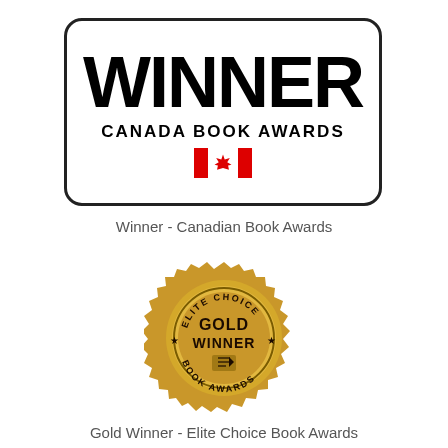[Figure (logo): Canada Book Awards Winner badge: large bold WINNER text, CANADA BOOK AWARDS subtitle, Canadian flag icon, all inside a rounded rectangle border]
Winner - Canadian Book Awards
[Figure (logo): Elite Choice Book Awards gold seal medal with serrated edge, stars, text reading ELITE CHOICE around top, BOOK AWARDS around bottom, GOLD WINNER in center with pen/quill icon]
Gold Winner - Elite Choice Book Awards